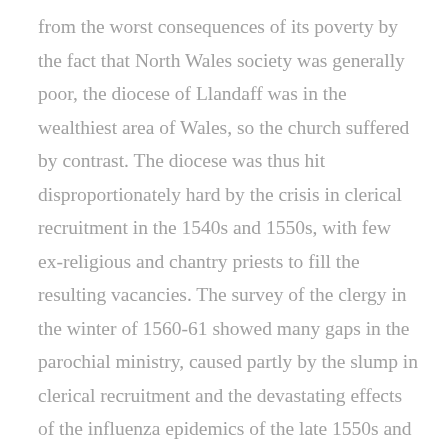from the worst consequences of its poverty by the fact that North Wales society was generally poor, the diocese of Llandaff was in the wealthiest area of Wales, so the church suffered by contrast. The diocese was thus hit disproportionately hard by the crisis in clerical recruitment in the 1540s and 1550s, with few ex-religious and chantry priests to fill the resulting vacancies. The survey of the clergy in the winter of 1560-61 showed many gaps in the parochial ministry, caused partly by the slump in clerical recruitment and the devastating effects of the influenza epidemics of the late 1550s and partly by absenteeism. Some of the absentees were pluralists, some were studying at Oxford or Cambridge, but some at least had left their parishes because they